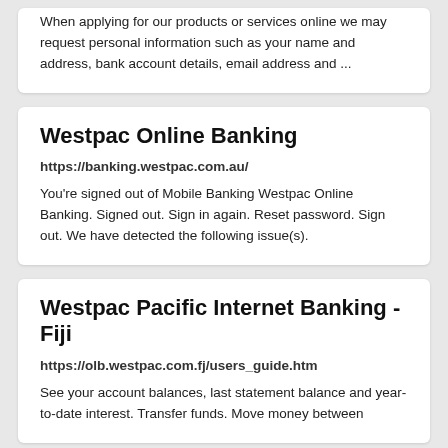When applying for our products or services online we may request personal information such as your name and address, bank account details, email address and ...
Westpac Online Banking
https://banking.westpac.com.au/
You're signed out of Mobile Banking Westpac Online Banking. Signed out. Sign in again. Reset password. Sign out. We have detected the following issue(s).
Westpac Pacific Internet Banking - Fiji
https://olb.westpac.com.fj/users_guide.htm
See your account balances, last statement balance and year-to-date interest. Transfer funds. Move money between